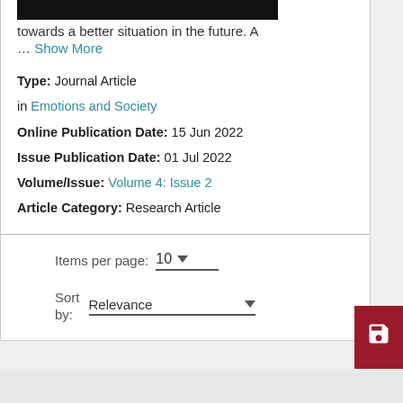towards a better situation in the future. A
… Show More
Type: Journal Article
in Emotions and Society
Online Publication Date: 15 Jun 2022
Issue Publication Date: 01 Jul 2022
Volume/Issue: Volume 4: Issue 2
Article Category: Research Article
Items per page: 10
Sort by: Relevance